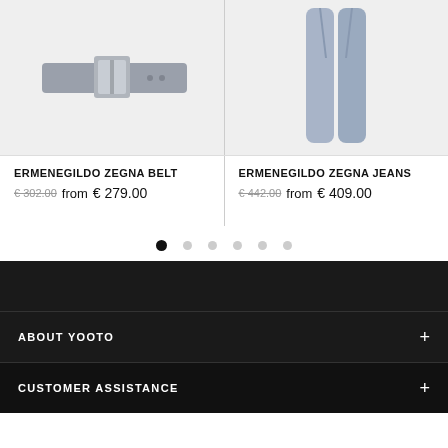[Figure (photo): Product image of a grey Ermenegildo Zegna belt with silver buckle on a light grey background]
[Figure (photo): Product image of light blue/grey Ermenegildo Zegna jeans on a light grey background]
ERMENEGILDO ZEGNA BELT €302.00 from €279.00
ERMENEGILDO ZEGNA JEANS €442.00 from €409.00
ABOUT YOOTO +
CUSTOMER ASSISTANCE +